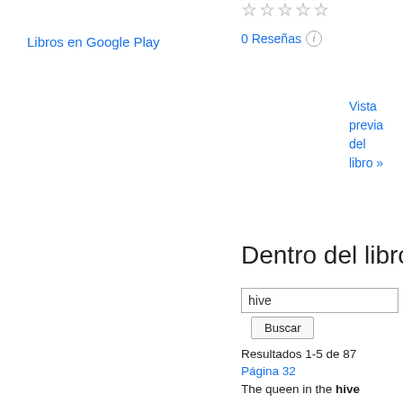Libros en Google Play
0 Reseñas
Vista previa del libro »
Dentro del libro
hive
Buscar
Resultados 1-5 de 87
Página 32
The queen in the hive that yield- but they seemed to gather none , preferring the ed so much honey is the daughter of a queen raised honey from the